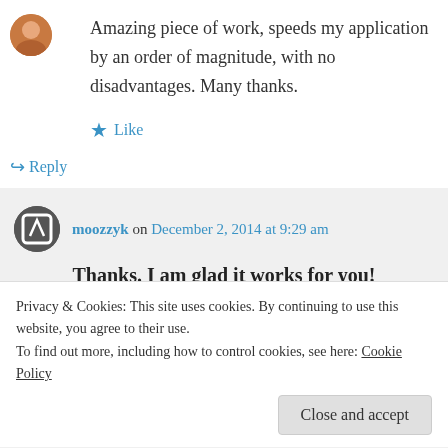Amazing piece of work, speeds my application by an order of magnitude, with no disadvantages. Many thanks.
★ Like
↪ Reply
moozzyk on December 2, 2014 at 9:29 am
Thanks. I am glad it works for you!
Privacy & Cookies: This site uses cookies. By continuing to use this website, you agree to their use.
To find out more, including how to control cookies, see here: Cookie Policy
Close and accept
Nick on January 17, 2015 at 6:56 am